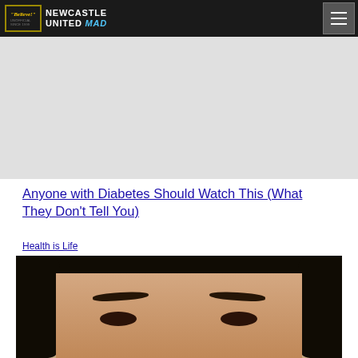"Believe!" NEWCASTLE UNITED MAD
[Figure (photo): Advertisement placeholder area (grey background)]
Anyone with Diabetes Should Watch This (What They Don't Tell You)
Health is Life
[Figure (photo): Close-up photo of a young woman with dark hair and dark eyebrows, face cropped showing forehead and eyes area]